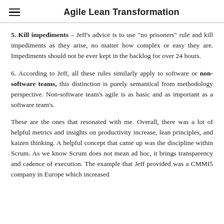Agile Lean Transformation
5. Kill impediments – Jeff's advice is to use "no prisoners" rule and kill impediments as they arise, no matter how complex or easy they are. Impediments should not be ever kept in the backlog for over 24 hours.
6. According to Jeff, all these rules similarly apply to software or non-software teams, this distinction is purely semantical from methodology perspective. Non-software team's agile is as basic and as important as a software team's.
These are the ones that resonated with me. Overall, there was a lot of helpful metrics and insights on productivity increase, lean principles, and kaizen thinking. A helpful concept that came up was the discipline within Scrum. As we know Scrum does not mean ad hoc, it brings transparency and cadence of execution. The example that Jeff provided was a CMMI5 company in Europe which increased